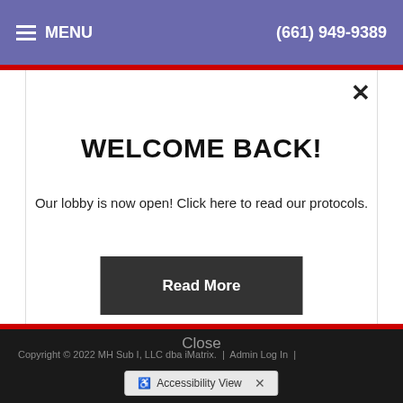MENU   (661) 949-9389
WELCOME BACK!
Our lobby is now open! Click here to read our protocols.
Read More
Close
Copyright © 2022 MH Sub I, LLC dba iMatrix.  |  Admin Log In  |
Accessibility View  ×